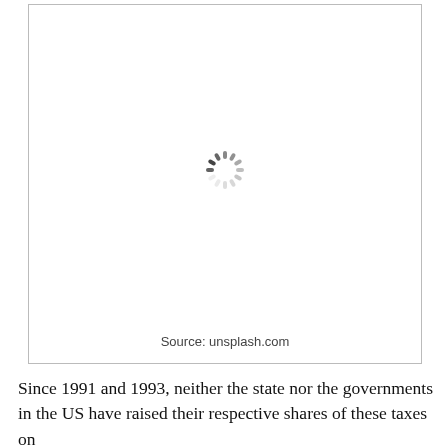[Figure (photo): Image placeholder with a loading spinner in the center. Source attribution reads: Source: unsplash.com]
Source: unsplash.com
Since 1991 and 1993, neither the state nor the governments in the US have raised their respective shares of these taxes on